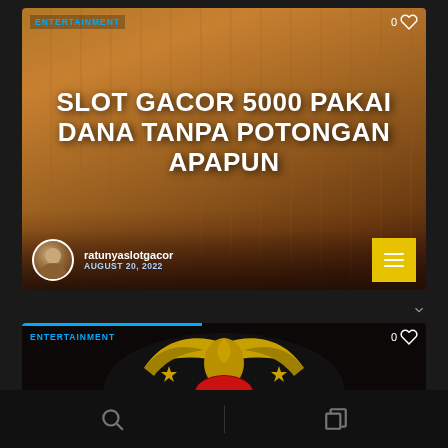ENTERTAINMENT
[Figure (photo): Anime scene of two characters in a school classroom, one with blonde hair and one with dark spiky hair appearing to fight or argue. Overlaid with large white bold text reading 'SLOT GACOR 5000 PAKAI DANA TANPA POTONGAN APAPUN']
ratunyas lotgacor
AUGUST 20, 2022
[Figure (photo): Wrestler or performer wearing a black costume decorated with gold eagle/wings emblem and stars, with hands raised in fists. ENTERTAINMENT category label and heart/like icon visible at top.]
Search and Collections navigation icons